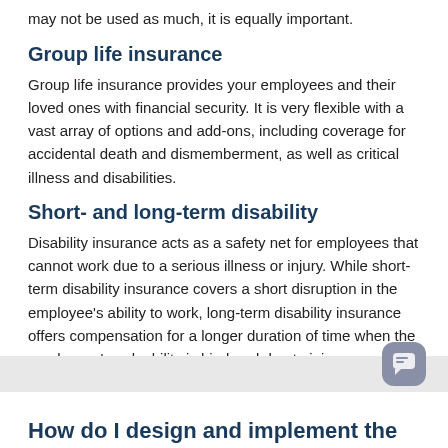may not be used as much, it is equally important.
Group life insurance
Group life insurance provides your employees and their loved ones with financial security. It is very flexible with a vast array of options and add-ons, including coverage for accidental death and dismemberment, as well as critical illness and disabilities.
Short- and long-term disability
Disability insurance acts as a safety net for employees that cannot work due to a serious illness or injury. While short-term disability insurance covers a short disruption in the employee's ability to work, long-term disability insurance offers compensation for a longer duration of time when the employees' work ability is hindered due to injury.
How do I design and implement the